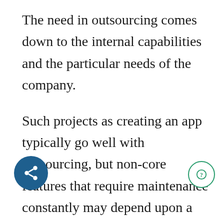The need in outsourcing comes down to the internal capabilities and the particular needs of the company.
Such projects as creating an app typically go well with outsourcing, but non-core features that require maintenance constantly may depend upon a designated department.
For one side, outsourcing means hiring specialists who know what they are doing. And despite the app’s popularity, they are still somewhat of an unknown area for many companies due to the fast changes on the